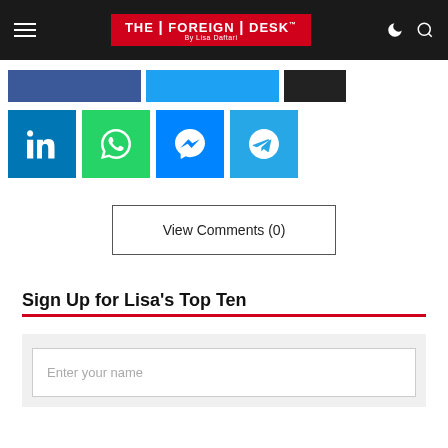THE | FOREIGN | DESK — By Lisa Daftari
[Figure (screenshot): Social share buttons row 1: partial Facebook and Twitter buttons visible, plus a black button]
[Figure (screenshot): Social share buttons row 2: LinkedIn (blue), WhatsApp (green), Messenger (blue), Telegram (teal) icon buttons]
View Comments (0)
Sign Up for Lisa's Top Ten
Enter your name